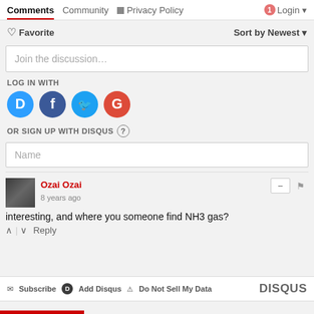Comments | Community | Privacy Policy | Login
♡ Favorite   Sort by Newest
Join the discussion…
LOG IN WITH
[Figure (infographic): Social login icons: Disqus (blue D), Facebook (dark blue f), Twitter (light blue bird), Google (red G)]
OR SIGN UP WITH DISQUS ?
Name
Ozai Ozai
8 years ago
interesting, and where you someone find NH3 gas?
^ | v Reply
Subscribe  Add Disqus  Do Not Sell My Data  DISQUS